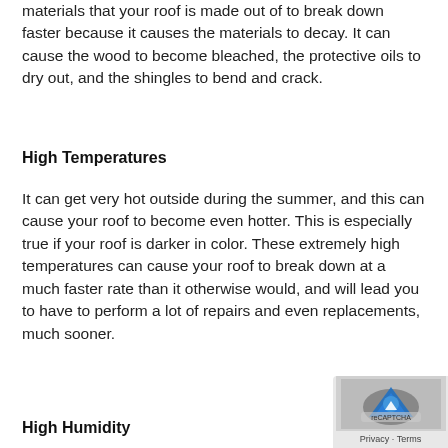materials that your roof is made out of to break down faster because it causes the materials to decay. It can cause the wood to become bleached, the protective oils to dry out, and the shingles to bend and crack.
High Temperatures
It can get very hot outside during the summer, and this can cause your roof to become even hotter. This is especially true if your roof is darker in color. These extremely high temperatures can cause your roof to break down at a much faster rate than it otherwise would, and will lead you to have to perform a lot of repairs and even replacements, much sooner.
High Humidity